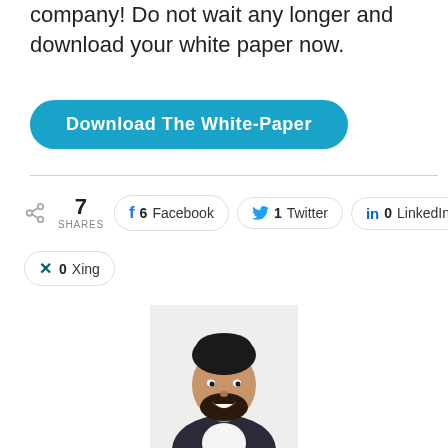company! Do not wait any longer and download your white paper now.
[Figure (other): Blue rounded rectangle button with white bold text: 'Download The White-Paper']
7 SHARES   6 Facebook   1 Twitter   0 LinkedIn   0 Xing
[Figure (photo): Headshot photo of a man with dark hair and beard, wearing a dark suit with white shirt, smiling]